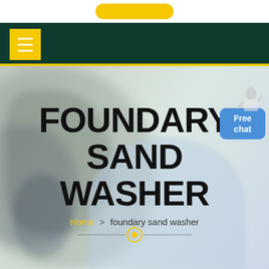[Figure (screenshot): Website header with yellow pill-shaped button at top, dark green navigation bar with yellow menu button, and hero section showing industrial foundry sand washer page with large bold title, breadcrumb navigation, and a blue Free chat support button with a person figure.]
FOUNDARY SAND WASHER
Home > foundary sand washer